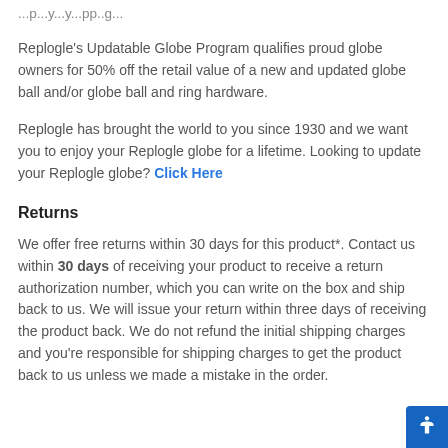...partial text visible at top of page (cropped)
Replogle's Updatable Globe Program qualifies proud globe owners for 50% off the retail value of a new and updated globe ball and/or globe ball and ring hardware.
Replogle has brought the world to you since 1930 and we want you to enjoy your Replogle globe for a lifetime. Looking to update your Replogle globe? Click Here
Returns
We offer free returns within 30 days for this product*. Contact us within 30 days of receiving your product to receive a return authorization number, which you can write on the box and ship back to us. We will issue your return within three days of receiving the product back. We do not refund the initial shipping charges and you’re responsible for shipping charges to get the product back to us unless we made a mistake in the order.